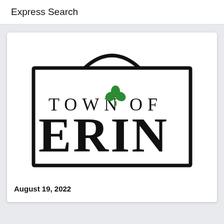Express Search
[Figure (logo): Town of Erin logo: a rectangular sign shape with an arched top, containing the text 'TOWN OF' with a green shamrock/clover between 'TOWN' and 'OF', and 'ERIN' in large bold serif letters below.]
August 19, 2022